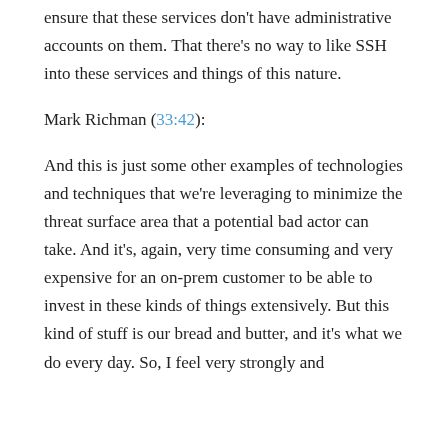ensure that these services don't have administrative accounts on them. That there's no way to like SSH into these services and things of this nature.
Mark Richman (33:42):
And this is just some other examples of technologies and techniques that we're leveraging to minimize the threat surface area that a potential bad actor can take. And it's, again, very time consuming and very expensive for an on-prem customer to be able to invest in these kinds of things extensively. But this kind of stuff is our bread and butter, and it's what we do every day. So, I feel very strongly and